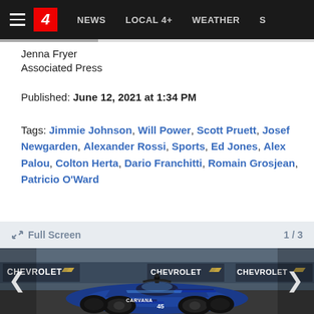NEWS  LOCAL 4+  WEATHER  S
Jenna Fryer
Associated Press
Published: June 12, 2021 at 1:34 PM
Tags: Jimmie Johnson, Will Power, Scott Pruett, Josef Newgarden, Alexander Rossi, Sports, Ed Jones, Alex Palou, Colton Herta, Dario Franchitti, Romain Grosjean, Patricio O'Ward
Full Screen   1 / 3
[Figure (photo): Blue IndyCar race car on track with Chevrolet sponsorship banners in background, with carousel navigation arrows on left and right]